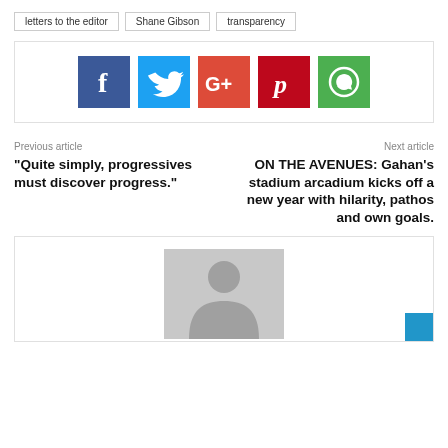letters to the editor
Shane Gibson
transparency
[Figure (infographic): Social media sharing buttons: Facebook (blue), Twitter (cyan), Google+ (orange-red), Pinterest (dark red), WhatsApp (green)]
Previous article
"Quite simply, progressives must discover progress."
Next article
ON THE AVENUES: Gahan's stadium arcadium kicks off a new year with hilarity, pathos and own goals.
[Figure (photo): Generic user avatar placeholder image — grey silhouette of a person on light grey background]